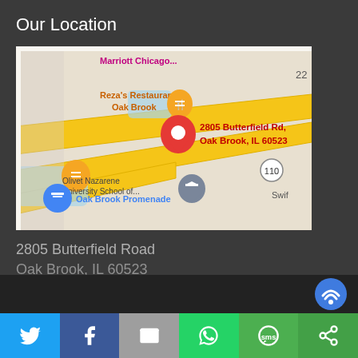Our Location
[Figure (map): Google Maps screenshot showing 2805 Butterfield Rd, Oak Brook, IL 60523 with a red location pin. Nearby labels include Marriott Chicago, Reza's Restaurant-Oak Brook, Olivet Nazarene University School of..., Oak Brook Promenade, and road marker 110.]
2805 Butterfield Road
Oak Brook, IL 60523
[Figure (infographic): Social sharing bar with six buttons: Twitter (light blue), Facebook (dark blue), Email (gray), WhatsApp (green), SMS (green), Share/other (dark green)]